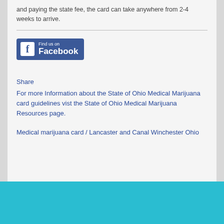and paying the state fee, the card can take anywhere from 2-4 weeks to arrive.
[Figure (logo): Find us on Facebook button with blue background and Facebook logo]
Share
For more Information about the State of Ohio Medical Marijuana card guidelines vist the State of Ohio Medical Marijuana Resources page.
Medical marijuana card / Lancaster and Canal Winchester Ohio